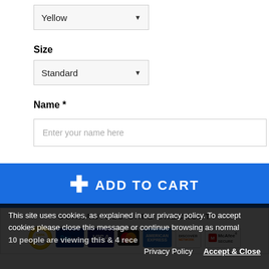Yellow (dropdown)
Size
Standard (dropdown)
Name *
Enter your name here
+ ADD TO CART
[Figure (infographic): Guaranteed Safe Checkout section with payment icons: satisfaction badge, PayPal, Visa, MasterCard, American Express, Discover, McAfee Secure]
This site uses cookies, as explained in our privacy policy. To accept cookies please close this message or continue browsing as normal
10 people are viewing this & 4 recently ordered!
Privacy Policy
Accept & Close